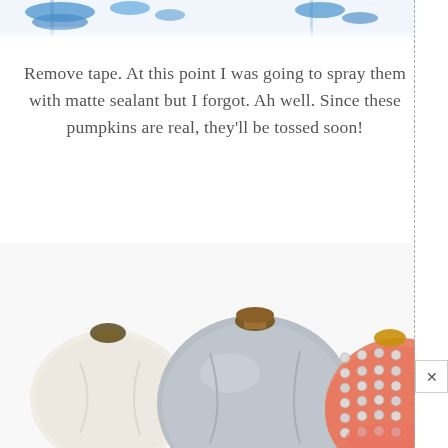[Figure (photo): Top portion of a photo showing blue decorative elements (ribbon/tape) against a white background, partially cropped at the top of the page.]
Remove tape. At this point I was going to spray them with matte sealant but I forgot. Ah well. Since these pumpkins are real, they'll be tossed soon!
[Figure (photo): Photo showing three decorated pumpkins: a white pumpkin on the left, a grey/silver pumpkin in the center, and a pumpkin with rhinestone gems on the right with a hand applying gems. All have gold/brown stems.]